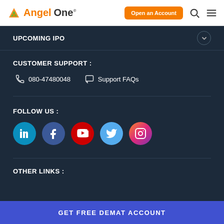AngelOne — Open an Account
UPCOMING IPO
CUSTOMER SUPPORT :
080-47480048
Support FAQs
FOLLOW US :
[Figure (illustration): Social media icons: LinkedIn, Facebook, YouTube, Twitter, Instagram]
OTHER LINKS :
GET FREE DEMAT ACCOUNT